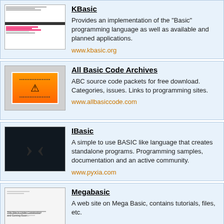[Figure (screenshot): KBasic website screenshot thumbnail]
KBasic
Provides an implementation of the "Basic" programming language as well as available and planned applications.
www.kbasic.org
[Figure (screenshot): All Basic Code Archives website thumbnail with orange card design]
All Basic Code Archives
ABC source code packets for free download. Categories, issues. Links to programming sites.
www.allbasiccode.com
[Figure (screenshot): IBasic website thumbnail with dark background and arrow brackets]
IBasic
A simple to use BASIC like language that creates standalone programs. Programming samples, documentation and an active community.
www.pyxia.com
[Figure (screenshot): Megabasic website thumbnail showing under construction page]
Megabasic
A web site on Mega Basic, contains tutorials, files, etc.